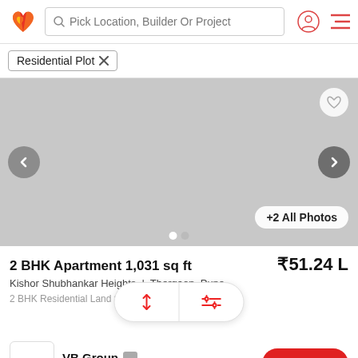Pick Location, Builder Or Project
Residential Plot ×
[Figure (screenshot): Gray placeholder image for property listing with carousel navigation arrows and heart/save button]
+2 All Photos
2 BHK Apartment 1,031 sq ft
₹51.24 L
Kishor Shubhankar Heights | Thergaon, Pune
2 BHK Residential Land fo... Pune: Well de... More
VB Group AGENT
Connect